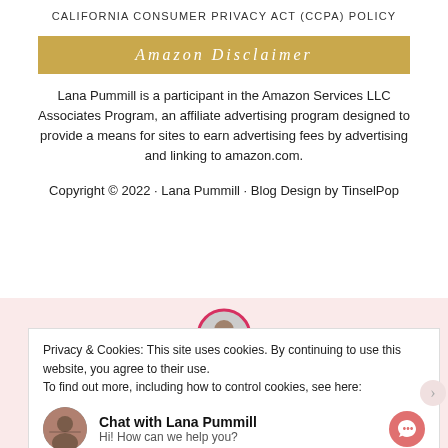CALIFORNIA CONSUMER PRIVACY ACT (CCPA) POLICY
Amazon Disclaimer
Lana Pummill is a participant in the Amazon Services LLC Associates Program, an affiliate advertising program designed to provide a means for sites to earn advertising fees by advertising and linking to amazon.com.
Copyright © 2022 · Lana Pummill · Blog Design by TinselPop
[Figure (photo): Profile photo of Lana Pummill in a circular frame with pink border]
Privacy & Cookies: This site uses cookies. By continuing to use this website, you agree to their use.
To find out more, including how to control cookies, see here:
Chat with Lana Pummill
Hi! How can we help you?